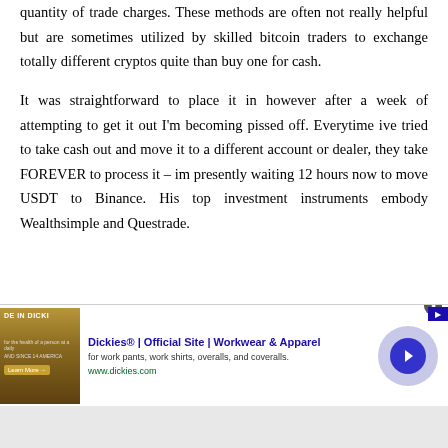quantity of trade charges. These methods are often not really helpful but are sometimes utilized by skilled bitcoin traders to exchange totally different cryptos quite than buy one for cash.
It was straightforward to place it in however after a week of attempting to get it out I'm becoming pissed off. Everytime ive tried to take cash out and move it to a different account or dealer, they take FOREVER to process it – im presently waiting 12 hours now to move USDT to Binance. His top investment instruments embody Wealthsimple and Questrade.
The solely factor Coinberry will charge you for is the trad...
[Figure (screenshot): Advertisement banner for Dickies workwear showing brand logo, tagline, and a circular arrow button]